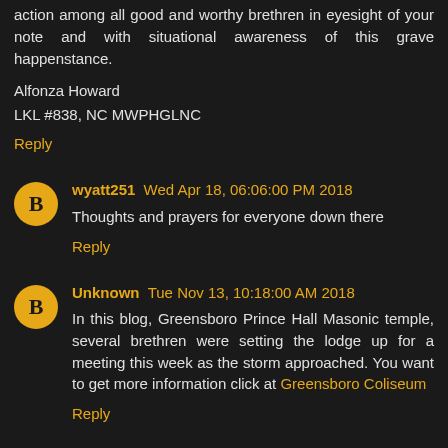action among all good and worthy brethren in eyesight of your note and with situational awareness of this grave happenstance.
Alfonza Howard
LKL #838, NC MWPHGLNC
Reply
wyatt251 Wed Apr 18, 06:06:00 PM 2018
Thoughts and prayers for everyone down there
Reply
Unknown Tue Nov 13, 10:18:00 AM 2018
In this blog, Greensboro Prince Hall Masonic temple, several brethren were setting the lodge up for a meeting this week as the storm approached. You want to get more information click at Greensboro Coliseum
Reply